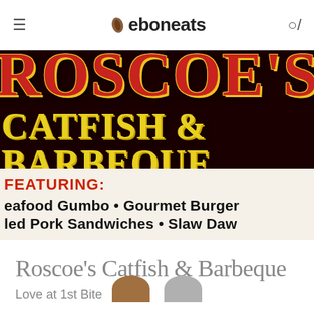eboneats
[Figure (photo): Roscoe's Catfish & Barbeque restaurant sign. Dark background with large red and yellow text reading ROSCOE'S and CATFISH & BARBEQUE, below which is a white area with FEATURING: in red, then Seafood Gumbo • Gourmet Burger and Pulled Pork Sandwiches • Slaw Dawg in bold black text.]
Roscoe's Catfish & Barbeque
Love at 1st Bite